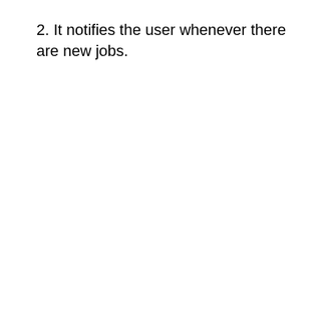2. It notifies the user whenever there are new jobs.